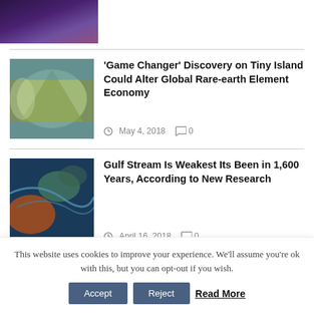[Figure (photo): Partial view of a dark purple/dark sky photo cropped at top of page]
[Figure (photo): Aerial photograph of a small triangular island surrounded by ocean]
'Game Changer' Discovery on Tiny Island Could Alter Global Rare-earth Element Economy
May 4, 2018   0
[Figure (photo): Satellite or artistic image showing ocean currents in blue, green and orange tones]
Gulf Stream Is Weakest Its Been in 1,600 Years, According to New Research
April 16, 2018   0
This website uses cookies to improve your experience. We'll assume you're ok with this, but you can opt-out if you wish.